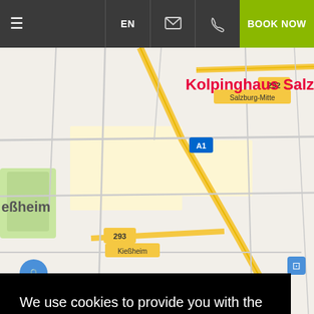EN | [email icon] | [phone icon] | BOOK NOW
[Figure (map): Google Maps view of Salzburg area showing roads including A1, routes 292, 293, 155, locations Salzburg-Mitte, Klessheim, and surrounding streets. Map shows yellow highway lines, green areas, and blue water features.]
We use cookies to provide you with the best experience and functionality on our website. By continuing to use the site, you are agreeing to our use of cookies.
Privacy Policy
Accept